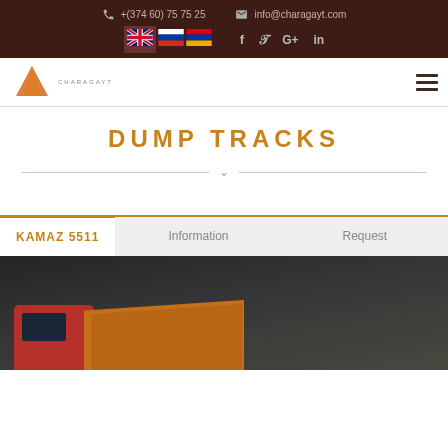+(374 60) 75 75 25   info@charagayt.com
[Figure (logo): Charagayt company logo with orange triangle/mountain icon and CHARAGAYT text]
DUMP TRACKS
KAMAZ 5511   Information   Request
[Figure (photo): Partial view of a red and orange dump truck (KAMAZ) against a dark background]